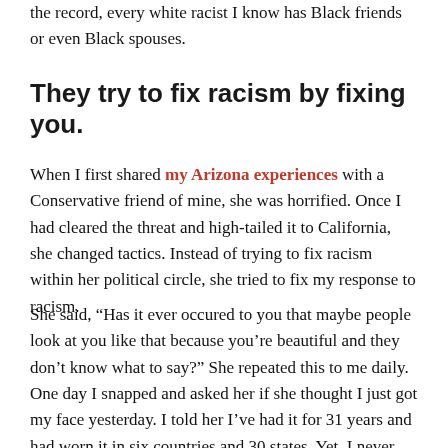the record, every white racist I know has Black friends or even Black spouses.
They try to fix racism by fixing you.
When I first shared my Arizona experiences with a Conservative friend of mine, she was horrified. Once I had cleared the threat and high-tailed it to California, she changed tactics. Instead of trying to fix racism within her political circle, she tried to fix my response to racism.
She said, “Has it ever occured to you that maybe people look at you like that because you’re beautiful and they don’t know what to say?” She repeated this to me daily. One day I snapped and asked her if she thought I just got my face yesterday. I told her I’ve had it for 31 years and had worn it in six countries and 30 states. Yet, I never had those experiences in Arizona, until Arizona.